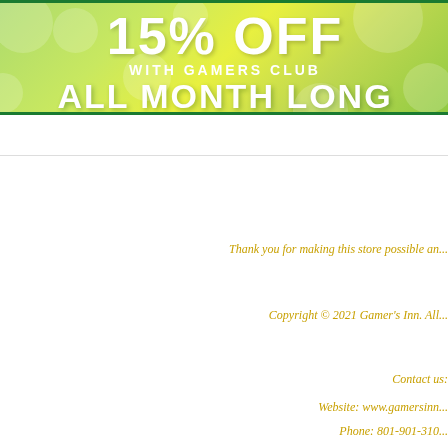[Figure (illustration): Green and yellow promotional banner with decorative blob shapes, showing '15% OFF WITH GAMERS CLUB ALL MONTH LONG' in white bold text]
Thank you for making this store possible an...
Copyright © 2021 Gamer's Inn. All...
Contact us:
Website: www.gamersinn...
Phone: 801-901-310...
Email: info@gameri...